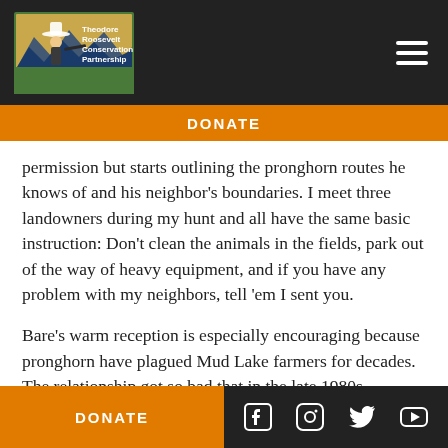[Figure (logo): Theodore Roosevelt Conservation Partnership logo with cowboy/hunter silhouette and mountains, green and tan/blue color scheme]
DONATE
permission but starts outlining the pronghorn routes he knows of and his neighbor's boundaries. I meet three landowners during my hunt and all have the same basic instruction: Don't clean the animals in the fields, park out of the way of heavy equipment, and if you have any problem with my neighbors, tell 'em I sent you.
Bare's warm reception is especially encouraging because pronghorn have plagued Mud Lake farmers for decades. The relationship got so bad that in the late 1980s, agriculture interests lobbied the state
DONATE
[Figure (other): Social media icons: Facebook, Instagram, Twitter/X, YouTube on dark background]